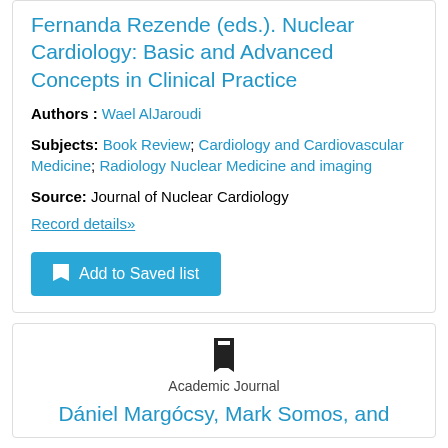Fernanda Rezende (eds.). Nuclear Cardiology: Basic and Advanced Concepts in Clinical Practice
Authors : Wael AlJaroudi
Subjects: Book Review; Cardiology and Cardiovascular Medicine; Radiology Nuclear Medicine and imaging
Source: Journal of Nuclear Cardiology
Record details»
Add to Saved list
Academic Journal
Dániel Margócsy, Mark Somos, and